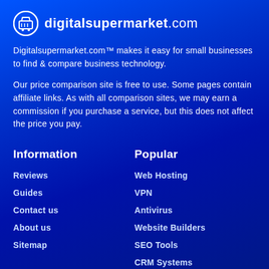[Figure (logo): digitalsupermarket.com logo with shopping cart icon]
Digitalsupermarket.com™ makes it easy for small businesses to find & compare business technology.
Our price comparison site is free to use. Some pages contain affiliate links. As with all comparison sites, we may earn a commission if you purchase a service, but this does not affect the price you pay.
Information
Reviews
Guides
Contact us
About us
Sitemap
Popular
Web Hosting
VPN
Antivirus
Website Builders
SEO Tools
CRM Systems